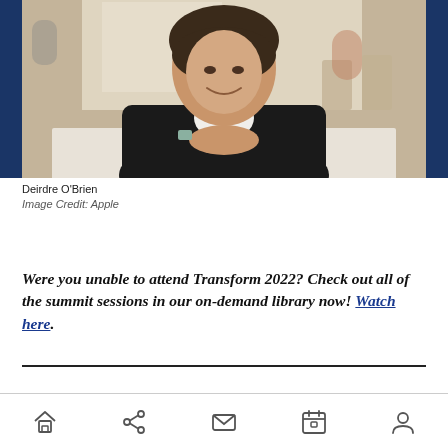[Figure (photo): Photo of Deirdre O'Brien, a smiling woman in a black blazer seated at a white table in a bright cafe/lounge setting]
Deirdre O'Brien
Image Credit: Apple
Were you unable to attend Transform 2022? Check out all of the summit sessions in our on-demand library now! Watch here.
Navigation bar with home, share, mail, calendar, and profile icons